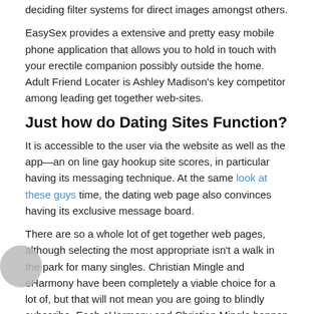deciding filter systems for direct images amongst others.
EasySex provides a extensive and pretty easy mobile phone application that allows you to hold in touch with your erectile companion possibly outside the home. Adult Friend Locater is Ashley Madison's key competitor among leading get together web-sites.
Just how do Dating Sites Function?
It is accessible to the user via the website as well as the app—an on line gay hookup site scores, in particular having its messaging technique. At the same look at these guys time, the dating web page also convinces having its exclusive message board.
There are so a whole lot of get together web pages, although selecting the most appropriate isn't a walk in the park for many singles. Christian Mingle and eHarmony have been completely a viable choice for a lot of, but that will not mean you are going to blindly subscribe. Each eHarmony and Christian Mingle happen to be commendable for… Bumble is the best dating service designed for males and girls expecting to meet new men and women. This is a busy intersection wherever eye-catching men may perhaps discuss with educated and appealing girl companions. It could be helpful to engage in hookups with friends or even to take good